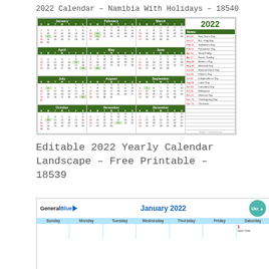2022 Calendar – Namibia With Holidays – 18540
[Figure (other): 2022 yearly calendar with 12 monthly mini-calendars arranged in a 4x3 grid with a notes panel on the right showing US holidays for 2022]
Editable 2022 Yearly Calendar Landscape – Free Printable – 18539
[Figure (other): Preview of January 2022 calendar with General Blue logo on left, January 2022 title in blue center, and a teal circular button on the right. Calendar grid shows Sunday through Saturday headers in light blue.]